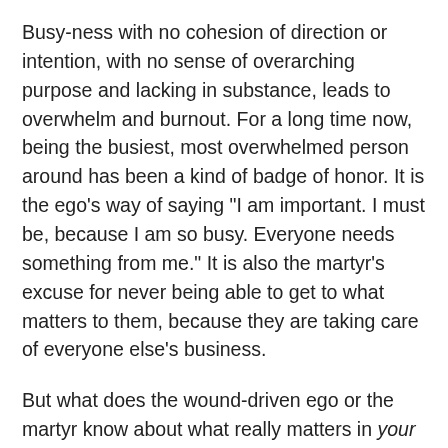Busy-ness with no cohesion of direction or intention, with no sense of overarching purpose and lacking in substance, leads to overwhelm and burnout. For a long time now, being the busiest, most overwhelmed person around has been a kind of badge of honor. It is the ego’s way of saying “I am important. I must be, because I am so busy. Everyone needs something from me.” It is also the martyr’s excuse for never being able to get to what matters to them, because they are taking care of everyone else’s business.
But what does the wound-driven ego or the martyr know about what really matters in your big picture?
If you invested your time today in things, thoughts, activities, people that are in alignment with your soul